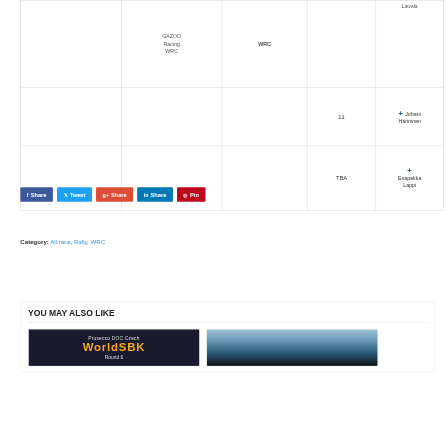|  | Team | Series |  | Car No. | Driver |
| --- | --- | --- | --- | --- | --- |
|  | GAZOO Racing WRC | WRC |  | Latvala (truncated) |  |
|  |  |  |  | 11 | Juhani Hänninen |
|  |  |  |  | TBA | Esapekka Lappi |
Share | Tweet | Share | Share | Pin
Category: All race, Rally, WRC
YOU MAY ALSO LIKE
[Figure (photo): Prosecco DOC Czech WorldSBK Round 6 promotional image with dark background]
[Figure (photo): Landscape photo with cloudy sky over dark terrain]